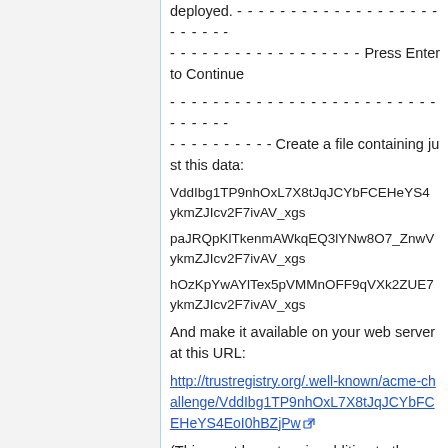deployed. - - - - - - - - - - - - - - - - - - - - - - - - - - - - - - - - - - - - - - Press Enter to Continue
- - - - - - - - - - - - - - - - - - - - - - - - - - - - - - - - - - - - - - - - - - Create a file containing just this data:
VddIbg1TP9nhOxL7X8tJqJCYbFCEHeYS4EoI0hBZjPwykmZJIcv2F7ivAV_xgs
paJRQpKlTkenmAWkqEQ3lYNw8O7_ZnwVykmZJIcv2F7ivAV_xgs
hOzKpYwAYlTex5pVMMnOFF9qVXk2ZUE7ykmZJIcv2F7ivAV_xgs
And make it available on your web server at this URL:
http://trustregistry.org/.well-known/acme-challenge/VddIbg1TP9nhOxL7X8tJqJCYbFCEHeYS4EoI0hBZjPw
(This must be set up in addition to the